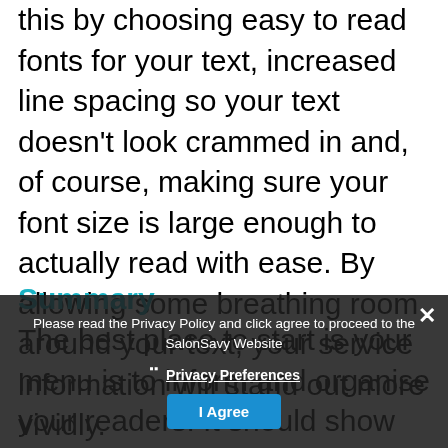this by choosing easy to read fonts for your text, increased line spacing so your text doesn't look crammed in and, of course, making sure your font size is large enough to actually read with ease. By allowing some breathing room around your text, your service information will stand out more vividly.
Summary
The best place to start is your menu is to inform and organise your readers. It should show them clearly what services to expect and create an emotional response to that information. And
Please read the Privacy Policy and click agree to proceed to the SalonSavy Website
Privacy Preferences
I Agree